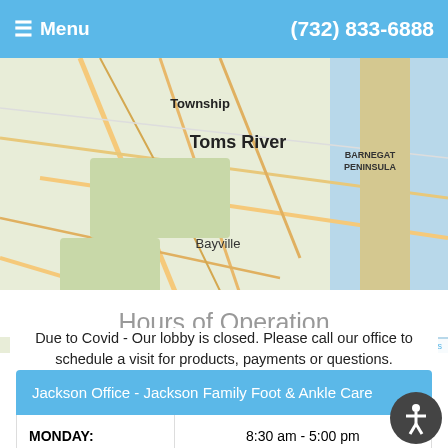≡ Menu   (732) 833-6888
[Figure (map): Street map showing Toms River area in New Jersey, including Township, Toms River, Barnegat Peninsula, Bayville, and Lacey Township labels. Map attribution: Leaflet | Map data provided by Internet Brands.]
Hours of Operation
Due to Covid - Our lobby is closed. Please call our office to schedule a visit for products, payments or questions.
| Jackson Office - Jackson Family Foot & Ankle Care |  |
| --- | --- |
| MONDAY: | 8:30 am  -  5:00 pm |